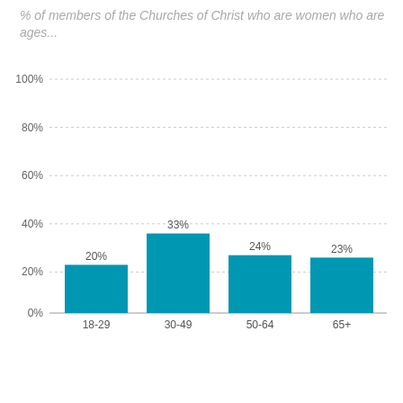% of members of the Churches of Christ who are women who are ages...
[Figure (bar-chart): % of members of the Churches of Christ who are women who are ages...]